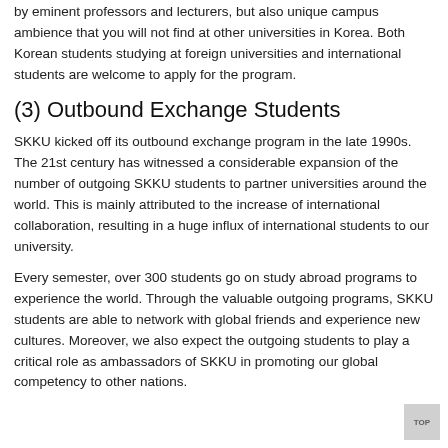by eminent professors and lecturers, but also unique campus ambience that you will not find at other universities in Korea. Both Korean students studying at foreign universities and international students are welcome to apply for the program.
(3) Outbound Exchange Students
SKKU kicked off its outbound exchange program in the late 1990s. The 21st century has witnessed a considerable expansion of the number of outgoing SKKU students to partner universities around the world. This is mainly attributed to the increase of international collaboration, resulting in a huge influx of international students to our university.
Every semester, over 300 students go on study abroad programs to experience the world. Through the valuable outgoing programs, SKKU students are able to network with global friends and experience new cultures. Moreover, we also expect the outgoing students to play a critical role as ambassadors of SKKU in promoting our global competency to other nations.